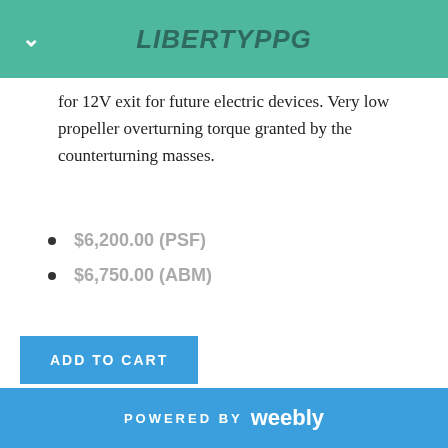LibertyPPG
for 12V exit for future electric devices. Very low propeller overturning torque granted by the counterturning masses.
$6,200.00 (PSF)
$6,750.00 (ABM)
ADD TO CART
| TECHNICAL LIST | THOR 130 |
| --- | --- |
| Polini Engine | 2 Stroke monocylinder |
POWERED BY weebly